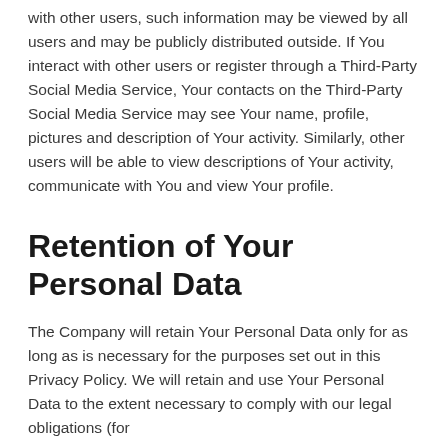with other users, such information may be viewed by all users and may be publicly distributed outside. If You interact with other users or register through a Third-Party Social Media Service, Your contacts on the Third-Party Social Media Service may see Your name, profile, pictures and description of Your activity. Similarly, other users will be able to view descriptions of Your activity, communicate with You and view Your profile.
Retention of Your Personal Data
The Company will retain Your Personal Data only for as long as is necessary for the purposes set out in this Privacy Policy. We will retain and use Your Personal Data to the extent necessary to comply with our legal obligations (for